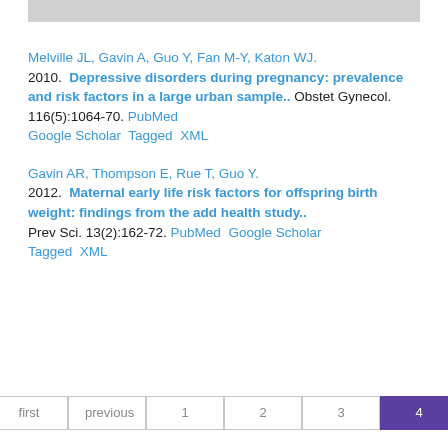Melville JL, Gavin A, Guo Y, Fan M-Y, Katon WJ. 2010. Depressive disorders during pregnancy: prevalence and risk factors in a large urban sample.. Obstet Gynecol. 116(5):1064-70. PubMed Google Scholar Tagged XML
Gavin AR, Thompson E, Rue T, Guo Y. 2012. Maternal early life risk factors for offspring birth weight: findings from the add health study.. Prev Sci. 13(2):162-72. PubMed Google Scholar Tagged XML
first  previous  1  2  3  4